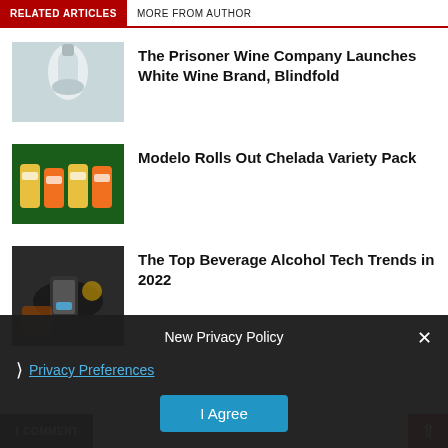RELATED ARTICLES  MORE FROM AUTHOR
The Prisoner Wine Company Launches White Wine Brand, Blindfold
Modelo Rolls Out Chelada Variety Pack
The Top Beverage Alcohol Tech Trends in 2022
New Privacy Policy
Privacy Preferences
I Agree
1 COMMENT